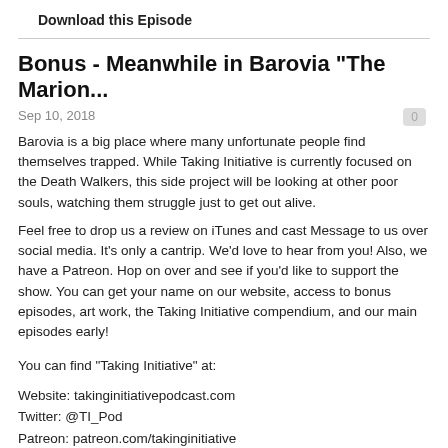Download this Episode
Bonus - Meanwhile in Barovia "The Marion...
Sep 10, 2018
Barovia is a big place where many unfortunate people find themselves trapped. While Taking Initiative is currently focused on the Death Walkers, this side project will be looking at other poor souls, watching them struggle just to get out alive.
Feel free to drop us a review on iTunes and cast Message to us over social media. It's only a cantrip. We'd love to hear from you! Also, we have a Patreon. Hop on over and see if you'd like to support the show. You can get your name on our website, access to bonus episodes, art work, the Taking Initiative compendium, and our main episodes early!
You can find "Taking Initiative" at:
Website: takinginitiativepodcast.com
Twitter: @TI_Pod
Patreon: patreon.com/takinginitiative